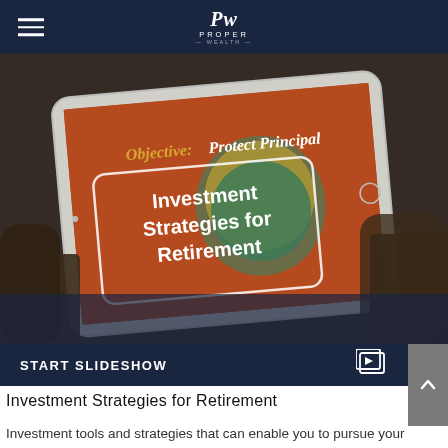Proper Wealth
[Figure (photo): Hands holding a tablet displaying a presentation slide with text 'Objective: Protect Principal' and 'Investment Strategies for Retirement' on an orange background with a shield graphic]
START SLIDESHOW
Investment Strategies for Retirement
Investment tools and strategies that can enable you to pursue your